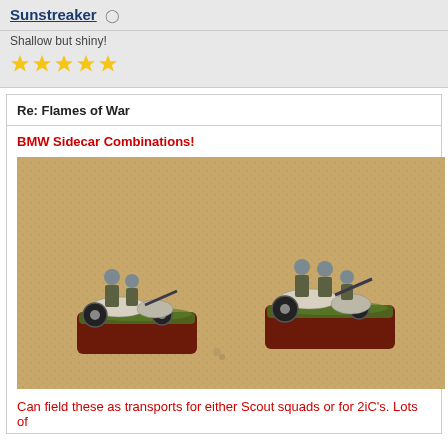Sunstreaker
Shallow but shiny!
★★★★★
Re: Flames of War
BMW Sidecar Combinations!
[Figure (photo): Two painted miniature BMW motorcycle sidecar combinations with WWII German soldiers, mounted on green-flocked bases with red-brown edges, photographed on a cork/tan background.]
Can field these as transports for either Scout squads or for 2iC's. Lots of